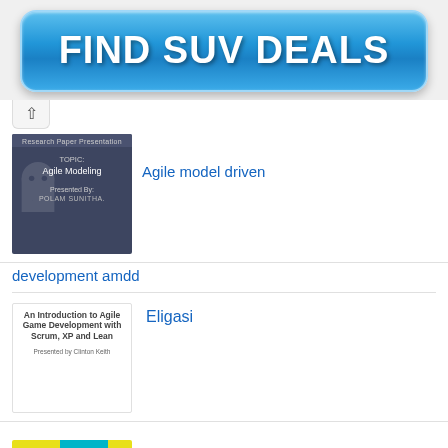[Figure (other): Blue gradient button advertisement reading FIND SUV DEALS]
[Figure (screenshot): Dark blue/grey slide thumbnail showing TOPIC: Agile Modeling, Presented By: POLAM SUNITHA]
Agile model driven development amdd
[Figure (screenshot): White slide thumbnail showing An Introduction to Agile Game Development with Scrum, XP and Lean, Presented by Clinton Keith]
Eligasi
[Figure (other): Partial thumbnail with yellow and teal color blocks]